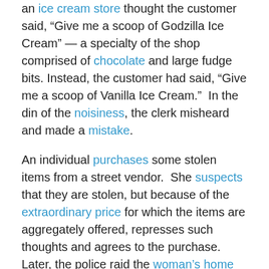an ice cream store thought the customer said, "Give me a scoop of Godzilla Ice Cream" — a specialty of the shop comprised of chocolate and large fudge bits. Instead, the customer had said, "Give me a scoop of Vanilla Ice Cream."  In the din of the noisiness, the clerk misheard and made a mistake.
An individual purchases some stolen items from a street vendor.  She suspects that they are stolen, but because of the extraordinary price for which the items are aggregately offered, represses such thoughts and agrees to the purchase.  Later, the police raid the woman's home and confiscate the property.  Was it a "mistake"?  In what way?
Here are several: It was a mistake to repress the suspicions aroused; it was a mistake to purchase such items from a street vendor; it was a mistake to fail to